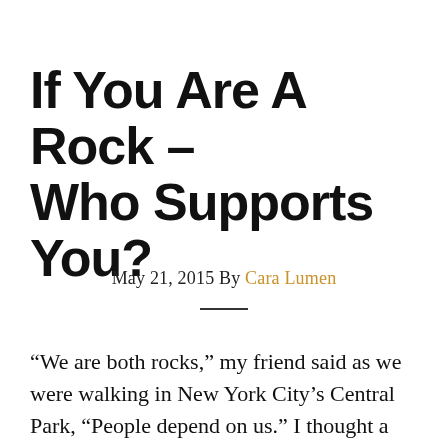If You Are A Rock – Who Supports You?
May 21, 2015 By Cara Lumen
“We are both rocks,” my friend said as we were walking in New York City’s Central Park, “People depend on us.” I thought a moment and asked, “If we are rocks, who do we depend